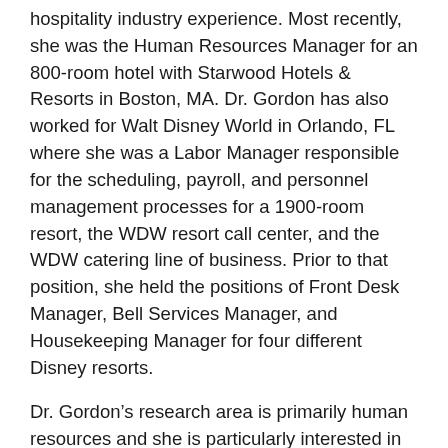hospitality industry experience. Most recently, she was the Human Resources Manager for an 800-room hotel with Starwood Hotels & Resorts in Boston, MA. Dr. Gordon has also worked for Walt Disney World in Orlando, FL where she was a Labor Manager responsible for the scheduling, payroll, and personnel management processes for a 1900-room resort, the WDW resort call center, and the WDW catering line of business. Prior to that position, she held the positions of Front Desk Manager, Bell Services Manager, and Housekeeping Manager for four different Disney resorts.
Dr. Gordon's research area is primarily human resources and she is particularly interested in employee wellbeing and perceived supervisor support. Dr. Gordon also conducts research in lodging operations. Her work has been published in several hospitality journals including the International Journal of Contemporary Hospitality Management, International Journal of Hospitality Administration, Journal of Human Resources in Hospitality & Tourism, Tourism Analysis, and the Journal of...